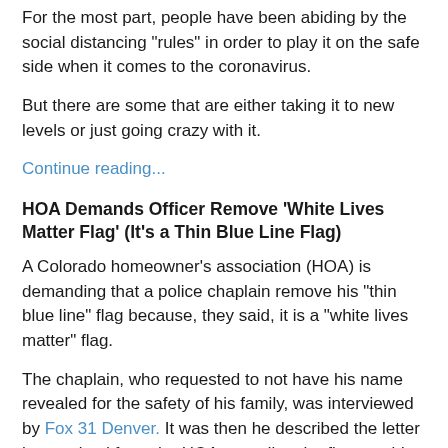For the most part, people have been abiding by the social distancing "rules" in order to play it on the safe side when it comes to the coronavirus.
But there are some that are either taking it to new levels or just going crazy with it.
Continue reading...
HOA Demands Officer Remove 'White Lives Matter Flag' (It's a Thin Blue Line Flag)
A Colorado homeowner's association (HOA) is demanding that a police chaplain remove his "thin blue line" flag because, they said, it is a "white lives matter" flag.
The chaplain, who requested to not have his name revealed for the safety of his family, was interviewed by Fox 31 Denver. It was then he described the letter he received from the HOA regarding the flag outside of his home. The letter said “it was observed there is a ‘white lives matter flag’” flying outside his house, but he argued that the blue line had absolutely nothing to do with race.